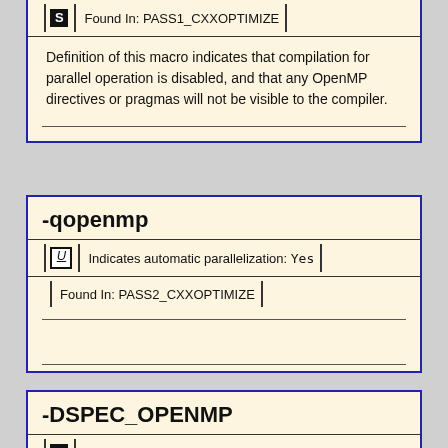S | Found In: PASS1_CXXOPTIMIZE
Definition of this macro indicates that compilation for parallel operation is disabled, and that any OpenMP directives or pragmas will not be visible to the compiler.
-qopenmp
U | Indicates automatic parallelization: Yes
Found In: PASS2_CXXOPTIMIZE
-DSPEC_OPENMP
S | Found In: PASS2_CXXOPTIMIZE